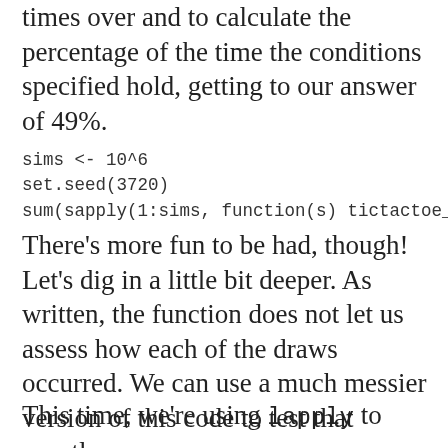times over and to calculate the percentage of the time the conditions specified hold, getting to our answer of 49%.
There’s more fun to be had, though! Let’s dig in a little bit deeper. As written, the function does not let us assess how each of the draws occurred. We can use a much messier version of this code to test that exactly.
This time, we’re using lapply to create a list of the random draws,